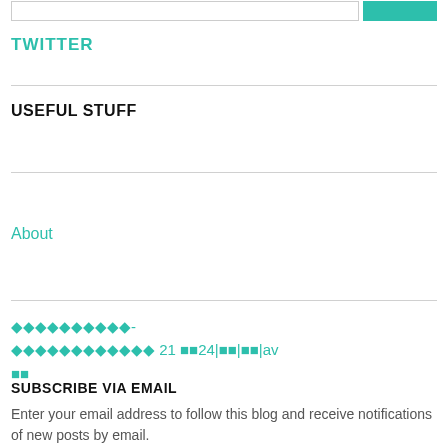TWITTER
USEFUL STUFF
About
◆◆◆◆◆◆◆◆◆◆- ◆◆◆◆◆◆◆◆◆◆◆◆ 21 🔲🔲24|🔲🔲|🔲🔲|av 🔲🔲
SUBSCRIBE VIA EMAIL
Enter your email address to follow this blog and receive notifications of new posts by email.